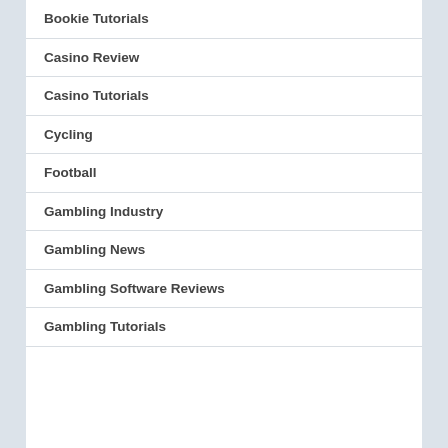Bookie Tutorials
Casino Review
Casino Tutorials
Cycling
Football
Gambling Industry
Gambling News
Gambling Software Reviews
Gambling Tutorials